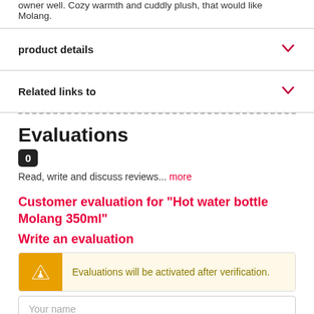owner well. Cozy warmth and cuddly plush, that would like Molang.
product details
Related links to
Evaluations
0
Read, write and discuss reviews... more
Customer evaluation for "Hot water bottle Molang 350ml"
Write an evaluation
Evaluations will be activated after verification.
Your name